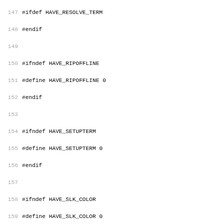Source code listing lines 148-179 showing C preprocessor ifdef/define/endif blocks for HAVE_RIPOFFLINE, HAVE_SETUPTERM, HAVE_SLK_COLOR, HAVE_SLK_INIT, HAVE_TERMATTRS, HAVE_TERMNAME, HAVE_TGETENT, HAVE_TIGETNUM